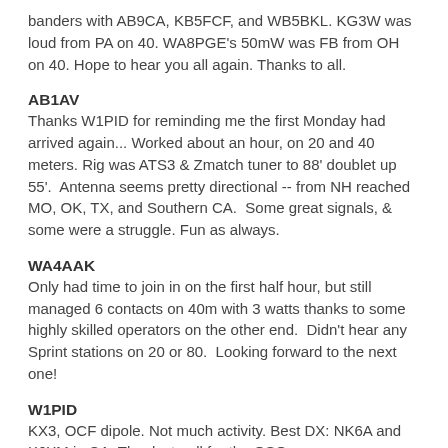banders with AB9CA, KB5FCF, and WB5BKL. KG3W was loud from PA on 40. WA8PGE's 50mW was FB from OH on 40. Hope to hear you all again. Thanks to all.
AB1AV
Thanks W1PID for reminding me the first Monday had arrived again... Worked about an hour, on 20 and 40 meters. Rig was ATS3 & Zmatch tuner to 88' doublet up 55'.  Antenna seems pretty directional -- from NH reached MO, OK, TX, and Southern CA.  Some great signals, & some were a struggle. Fun as always.
WA4AAK
Only had time to join in on the first half hour, but still managed 6 contacts on 40m with 3 watts thanks to some highly skilled operators on the other end.  Didn't hear any Sprint stations on 20 or 80.  Looking forward to the next one!
W1PID
KX3, OCF dipole. Not much activity. Best DX: NK6A and K6XM in CA. Thanks to all for the QSOs.